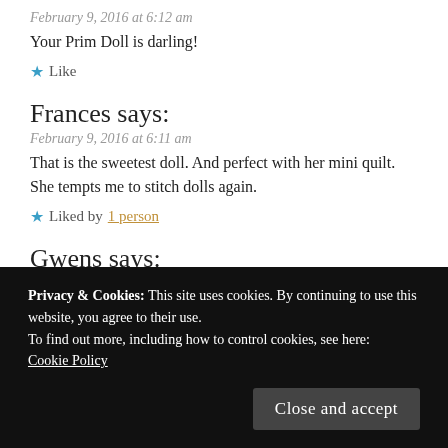February 9, 2016 at 6:12 am
Your Prim Doll is darling!
★ Like
Frances says:
February 9, 2016 at 6:11 am
That is the sweetest doll. And perfect with her mini quilt. She tempts me to stitch dolls again.
★ Liked by 1 person
Gwens says:
Privacy & Cookies: This site uses cookies. By continuing to use this website, you agree to their use.
To find out more, including how to control cookies, see here:
Cookie Policy
Close and accept
Marjorie says: